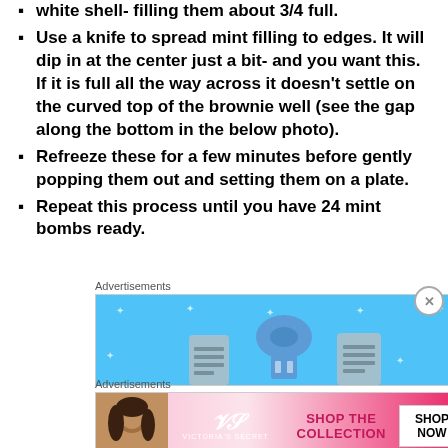white shell- filling them about 3/4 full.
Use a knife to spread mint filling to edges. It will dip in at the center just a bit- and you want this. If it is full all the way across it doesn't settle on the curved top of the brownie well (see the gap along the bottom in the below photo).
Refreeze these for a few minutes before gently popping them out and setting them on a plate.
Repeat this process until you have 24 mint bombs ready.
[Figure (screenshot): Blue advertisement banner with icons of storage/filing units on a light blue background with sparkle decorations.]
[Figure (screenshot): Victoria's Secret advertisement: pink gradient background with woman photo on left, VS logo, SHOP THE COLLECTION text, and SHOP NOW button.]